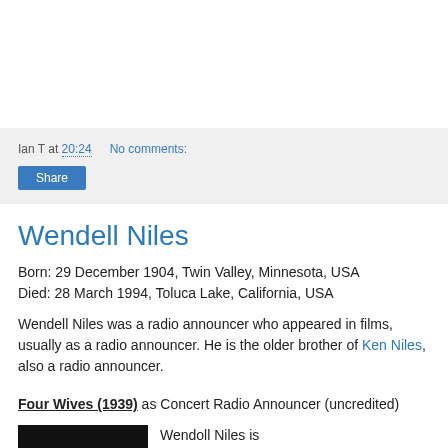Ian T at 20:24    No comments:
Share
Wendell Niles
Born: 29 December 1904, Twin Valley, Minnesota, USA
Died: 28 March 1994, Toluca Lake, California, USA
Wendell Niles was a radio announcer who appeared in films, usually as a radio announcer. He is the older brother of Ken Niles, also a radio announcer.
Four Wives (1939) as Concert Radio Announcer (uncredited)
Wendoll Niles is